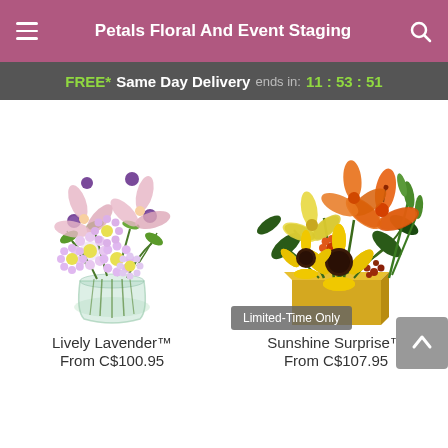Petals Floral And Event Staging
FREE* Same Day Delivery ends in: 11:53:51
[Figure (photo): Lively Lavender flower arrangement in a clear glass vase with purple daisies, pink lilies, and purple globe thistle]
Lively Lavender™
From C$100.95
[Figure (photo): Sunshine Surprise flower arrangement in a yellow cube vase with sunflowers, orange lilies, yellow lilies, and green buds with a Limited-Time Only badge]
Sunshine Surprise™
From C$107.95